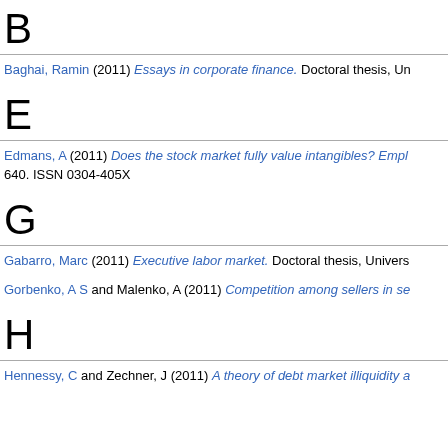B
Baghai, Ramin (2011) Essays in corporate finance. Doctoral thesis, Un
E
Edmans, A (2011) Does the stock market fully value intangibles? Empl 640. ISSN 0304-405X
G
Gabarro, Marc (2011) Executive labor market. Doctoral thesis, Univers
Gorbenko, A S and Malenko, A (2011) Competition among sellers in se
H
Hennessy, C and Zechner, J (2011) A theory of debt market illiquidity a